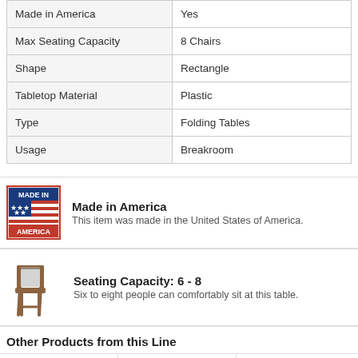| Attribute | Value |
| --- | --- |
| Made in America | Yes |
| Max Seating Capacity | 8 Chairs |
| Shape | Rectangle |
| Tabletop Material | Plastic |
| Type | Folding Tables |
| Usage | Breakroom |
[Figure (illustration): Made in America badge with US flag and text MADE IN AMERICA]
Made in America
This item was made in the United States of America.
[Figure (illustration): Chair icon illustration]
Seating Capacity: 6 - 8
Six to eight people can comfortably sit at this table.
Other Products from this Line